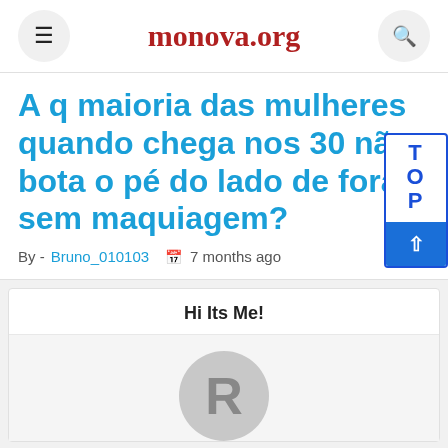monova.org
A q maioria das mulheres quando chega nos 30 não bota o pé do lado de fora sem maquiagem?
By - Bruno_010103  🗓 7 months ago
Hi Its Me!
[Figure (illustration): User avatar circle with letter R]